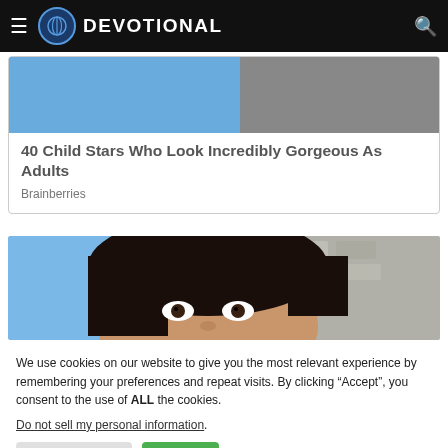DEVOTIONAL
40 Child Stars Who Look Incredibly Gorgeous As Adults
Brainberries
[Figure (photo): Close-up photo of a young woman with dark hair, brown eyes, with blue sky and stone wall in background]
We use cookies on our website to give you the most relevant experience by remembering your preferences and repeat visits. By clicking “Accept”, you consent to the use of ALL the cookies.
Do not sell my personal information.
Cookie Settings  Accept